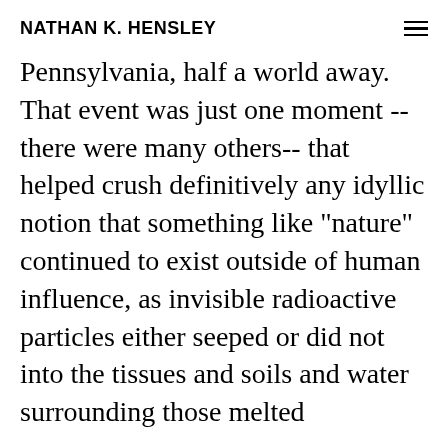NATHAN K. HENSLEY
Pennsylvania, half a world away. That event was just one moment --there were many others-- that helped crush definitively any idyllic notion that something like "nature" continued to exist outside of human influence, as invisible radioactive particles either seeped or did not into the tissues and soils and water surrounding those melted reactors. As C.K. Willi...